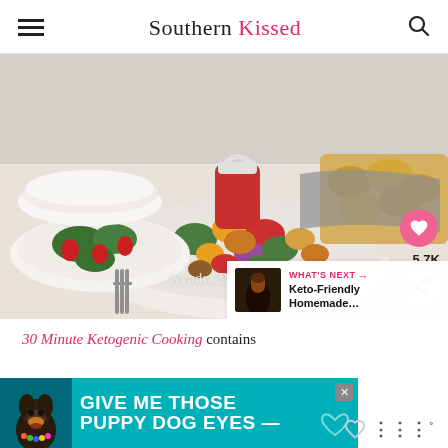Southern Kissed
[Figure (photo): Food photography showing a skillet with colorful roasted vegetables and sausage in the foreground, a strawberry salad on a plate to the left, a red dressing jar, stacked plates, and cheesy biscuits in the background. Watermark reads Kyndra D. Holley. UI elements include a heart button showing 5.7K saves and a share button.]
Kyndra D. Holley
30 Minute Ketogenic Cooking contains
[Figure (infographic): Advertisement banner with teal background showing a dog image on left and bold white text reading GIVE ME THOSE PUPPY DOG EYES with a close X button.]